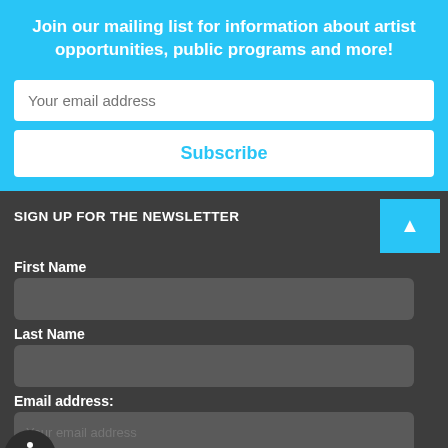Join our mailing list for information about artist opportunities, public programs and more!
[Figure (screenshot): Email input field with placeholder 'Your email address']
Subscribe
SIGN UP FOR THE NEWSLETTER
First Name
Last Name
Email address:
Topics of Interest: Experiences for Audiences Opportunities for Artists News for Volunteers / Interns / Job Seekers